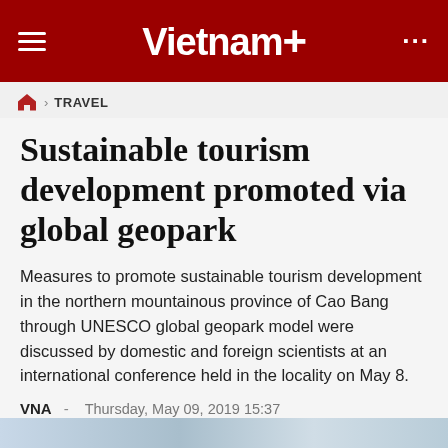Vietnam+
TRAVEL
Sustainable tourism development promoted via global geopark
Measures to promote sustainable tourism development in the northern mountainous province of Cao Bang through UNESCO global geopark model were discussed by domestic and foreign scientists at an international conference held in the locality on May 8.
VNA  -  Thursday, May 09, 2019 15:37
[Figure (infographic): Social media sharing buttons row: Facebook (dark blue), Zalo (blue), Twitter (light blue), Google+ (red), Print (gray)]
[Figure (photo): Blue-tinted landscape image strip at bottom of page]